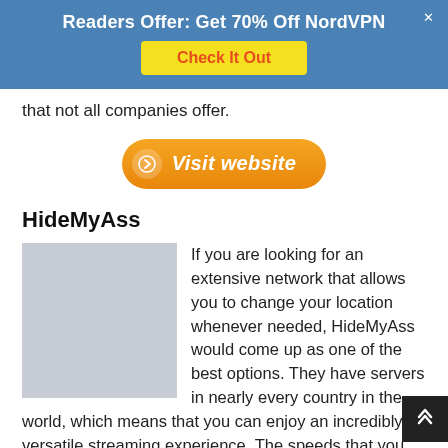Readers Offer: Get 70% Off NordVPN
Check It Out
that not all companies offer.
[Figure (other): Orange 'Visit website' button with arrow icon]
HideMyAss
[Figure (photo): Gray placeholder image for HideMyAss]
If you are looking for an extensive network that allows you to change your location whenever needed, HideMyAss would come up as one of the best options. They have servers in nearly every country in the world, which means that you can enjoy an incredibly versatile streaming experience. The speeds that you can enjoy with this